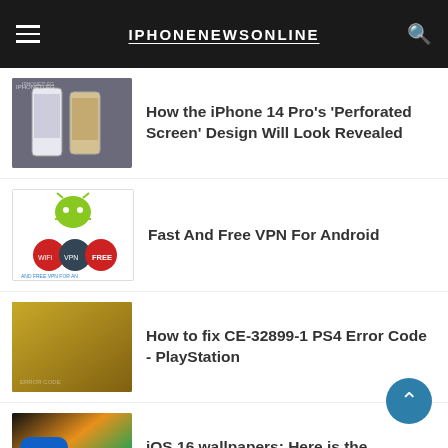IPHONENEWSONLINE
How the iPhone 14 Pro's 'Perforated Screen' Design Will Look Revealed
Fast And Free VPN For Android
How to fix CE-32899-1 PS4 Error Code - PlayStation
iOS 16 wallpapers: Here is the download link
Apple Watches Two new straps Introduced